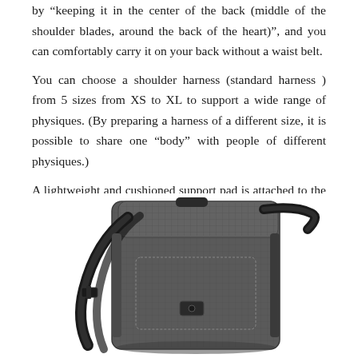by "keeping it in the center of the back (middle of the shoulder blades, around the back of the heart)", and you can comfortably carry it on your back without a waist belt. You can choose a shoulder harness (standard harness ) from 5 sizes from XS to XL to support a wide range of physiques. (By preparing a harness of a different size, it is possible to share one "body" with people of different physiques.) A lightweight and cushioned support pad is attached to the back. It can be removed from the pad sleeve and used as an extension of the sleeping mat.
[Figure (photo): A dark gray/black backpack with grid-patterned fabric shown from a slight angle, featuring shoulder straps and buckles visible on the left side.]